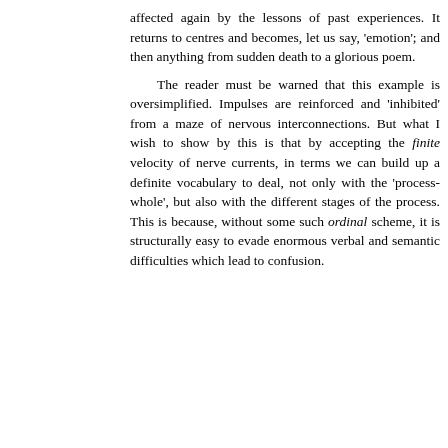affected again by the lessons of past experiences. It returns to centres and becomes, let us say, 'emotion'; and then anything from sudden death to a glorious poem.

The reader must be warned that this example is oversimplified. Impulses are reinforced and 'inhibited' from a maze of nervous interconnections. But what I wish to show by this is that by accepting the finite velocity of nerve currents, in terms we can build up a definite vocabulary to deal, not only with the 'process-whole', but also with the different stages of the process. This is because, without some such ordinal scheme, it is structurally easy to evade enormous verbal and semantic difficulties which lead to confusion.